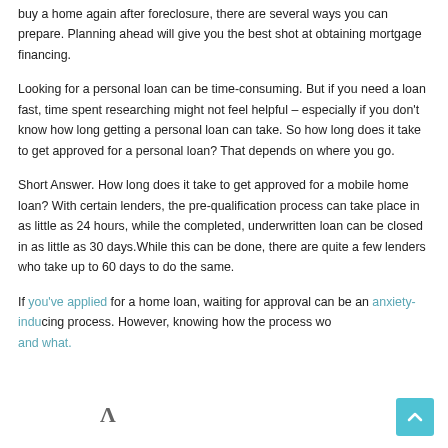buy a home again after foreclosure, there are several ways you can prepare. Planning ahead will give you the best shot at obtaining mortgage financing.
Looking for a personal loan can be time-consuming. But if you need a loan fast, time spent researching might not feel helpful – especially if you don't know how long getting a personal loan can take. So how long does it take to get approved for a personal loan? That depends on where you go.
Short Answer. How long does it take to get approved for a mobile home loan? With certain lenders, the pre-qualification process can take place in as little as 24 hours, while the completed, underwritten loan can be closed in as little as 30 days.While this can be done, there are quite a few lenders who take up to 60 days to do the same.
If you've applied for a home loan, waiting for approval can be an anxiety-inducing process. However, knowing how the process wo... and what.